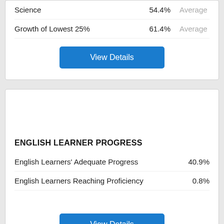Science 54.4% Average
Growth of Lowest 25% 61.4% Average
View Details
ENGLISH LEARNER PROGRESS
English Learners' Adequate Progress 40.9%
English Learners Reaching Proficiency 0.8%
View Details